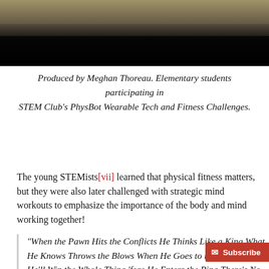[Figure (photo): Top portion of a photo showing elementary students, partially cropped, with a dark/black overlay at the bottom of the image.]
Produced by Meghan Thoreau. Elementary students participating in STEM Club's PhysBot Wearable Tech and Fitness Challenges.
The young STEMists[vii] learned that physical fitness matters, but they were also later challenged with strategic mind workouts to emphasize the importance of the body and mind working together!
“When the Pawn Hits the Conflicts He Thinks Like a King What He Knows Throws the Blows When He Goes to the Fight and He’ll Win the Whole Thing ‘fore He Enters the Ring There’s No Body